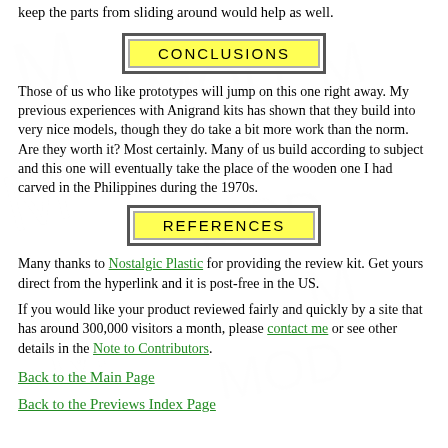keep the parts from sliding around would help as well.
CONCLUSIONS
Those of us who like prototypes will jump on this one right away. My previous experiences with Anigrand kits has shown that they build into very nice models, though they do take a bit more work than the norm. Are they worth it? Most certainly. Many of us build according to subject and this one will eventually take the place of the wooden one I had carved in the Philippines during the 1970s.
REFERENCES
Many thanks to Nostalgic Plastic for providing the review kit. Get yours direct from the hyperlink and it is post-free in the US.
If you would like your product reviewed fairly and quickly by a site that has around 300,000 visitors a month, please contact me or see other details in the Note to Contributors.
Back to the Main Page
Back to the Previews Index Page